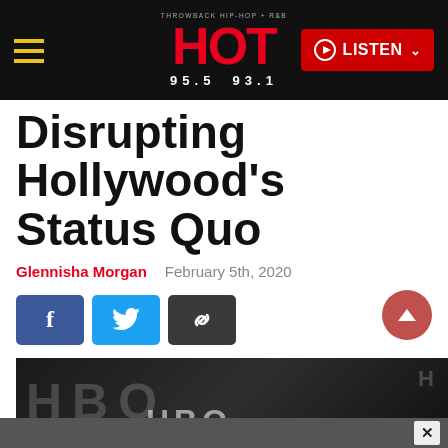HOT 95.5 93.1 — THROWBACK HIP-HOP + R&B — LISTEN
Disrupting Hollywood's Status Quo
Glennisha Morgan   February 5th, 2020
[Figure (screenshot): Social share buttons: Facebook (blue), Twitter (cyan), link/copy (dark gray), and a scroll-to-top coral/red circular button]
[Figure (photo): Black and white photo showing HBO logos/branding in the background]
X (close ad bar)